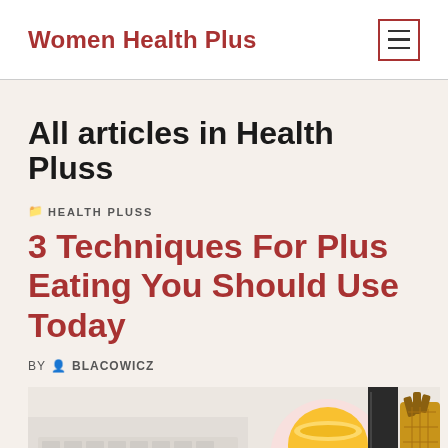Women Health Plus
All articles in Health Pluss
HEALTH PLUSS
3 Techniques For Plus Eating You Should Use Today
BY BLACOWICZ
[Figure (photo): A flat lay photo showing a white keyboard, a cup of orange/yellow beverage on a pink plate, a gold decorative pineapple, and a black notebook on a light background.]